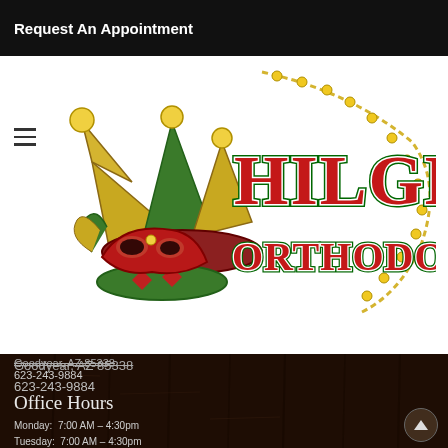Request An Appointment
[Figure (logo): Hilgers Orthodontics logo featuring a colorful jester hat and Mardi Gras mask with beads, alongside stylized red and green text reading 'Hilgers Orthodontics']
Goodyear, AZ 85338
623-243-9884
Office Hours
Monday:  7:00 AM – 4:30pm
Tuesday:  7:00 AM – 4:30pm
Wednesday:  7:00 AM – 4:30pm
Thursday:  7:00 AM – 4:30pm
Occasionally Opened On Fridays